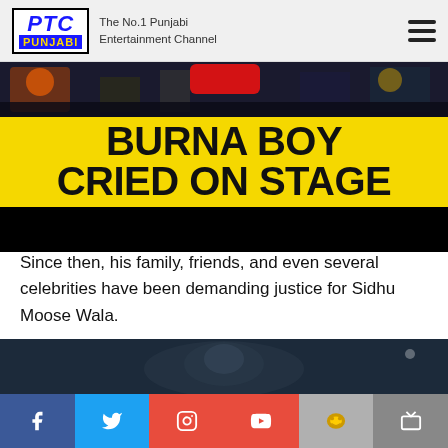PTC PUNJABI — The No.1 Punjabi Entertainment Channel
[Figure (screenshot): Concert stage photo at top, then large yellow banner with bold black text: BURNA BOY CRIED ON STAGE, followed by black strip]
Since then, his family, friends, and even several celebrities have been demanding justice for Sidhu Moose Wala.
[Figure (photo): Dark stage/concert photograph, partially visible]
Social media icons: Facebook, Twitter, Instagram, YouTube, Koo, TV